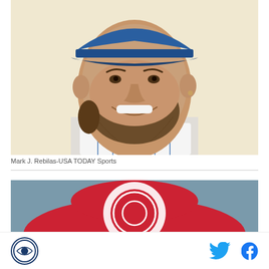[Figure (photo): Close-up headshot of a bearded male baseball player smiling, wearing a blue baseball cap and white pinstripe uniform. Beige/cream background.]
Mark J. Rebilas-USA TODAY Sports
[Figure (photo): Partially visible image of a red hat with a white circular logo/emblem on a grey-blue background.]
Site logo icon on the left; Twitter bird icon and Facebook f icon on the right.